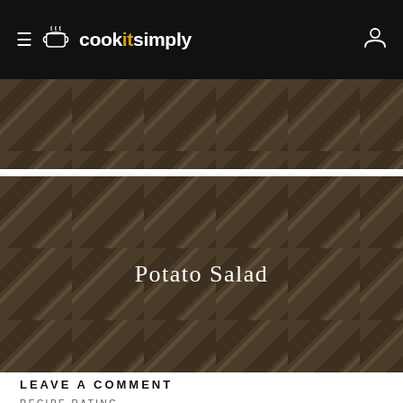cookitsimply
[Figure (photo): Plaid/tartan textured dark brown background image (top partial strip)]
[Figure (photo): Plaid/tartan textured dark brown background image with centered white text reading 'Potato Salad']
LEAVE A COMMENT
RECIPE RATING
[Figure (other): Five empty/outline star rating icons]